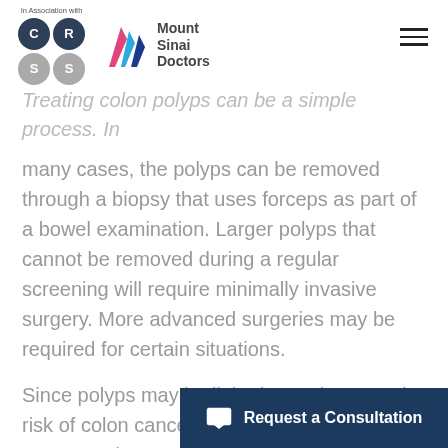In Association with — CRSS / Mount Sinai Doctors
Treating colon polyps can be a simple process. In many cases, the polyps can be removed through a biopsy that uses forceps as part of a bowel examination. Larger polyps that cannot be removed during a regular screening will require minimally invasive surgery. More advanced surgeries may be required for certain situations.
Since polyps may be linked to an increased risk of colon cancer, it's important for regular exams and screenings to occur as part of your follow-up care after polyp removal.
Request a Consultation